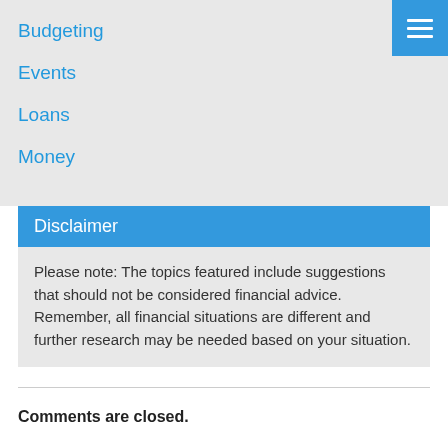Budgeting
Events
Loans
Money
Disclaimer
Please note: The topics featured include suggestions that should not be considered financial advice. Remember, all financial situations are different and further research may be needed based on your situation.
Comments are closed.